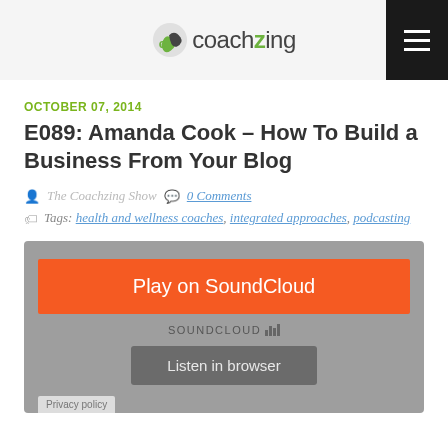coachzing
OCTOBER 07, 2014
E089: Amanda Cook – How To Build a Business From Your Blog
The Coachzing Show   0 Comments
Tags: health and wellness coaches, integrated approaches, podcasting
[Figure (screenshot): SoundCloud embedded audio player widget with orange 'Play on SoundCloud' button, SoundCloud label with waveform bars, and a 'Listen in browser' button on grey background. Privacy policy label at bottom left.]